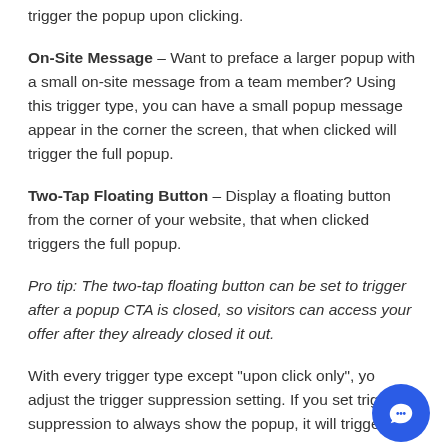trigger the popup upon clicking.
On-Site Message – Want to preface a larger popup with a small on-site message from a team member? Using this trigger type, you can have a small popup message appear in the corner the screen, that when clicked will trigger the full popup.
Two-Tap Floating Button – Display a floating button from the corner of your website, that when clicked triggers the full popup.
Pro tip: The two-tap floating button can be set to trigger after a popup CTA is closed, so visitors can access your offer after they already closed it out.
With every trigger type except "upon click only", you can adjust the trigger suppression setting. If you set trigger suppression to always show the popup, it will trigger the